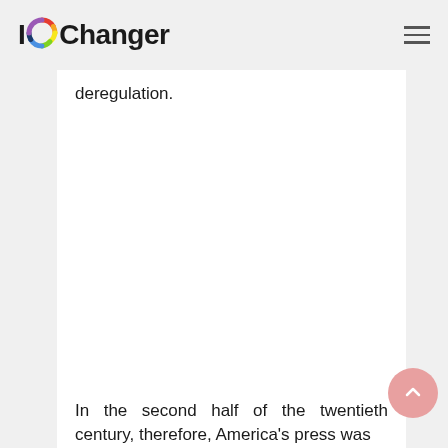IOChanger
deregulation.
In the second half of the twentieth century, therefore, America's press was